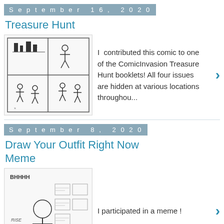September 16, 2020
Treasure Hunt
[Figure (illustration): Small comic strip thumbnail showing stick-figure characters in a grid layout]
I contributed this comic to one of the ComicInvasion Treasure Hunt booklets! All four issues are hidden at various locations throughou...
September 8, 2020
Draw Your Outfit Right Now Meme
[Figure (illustration): Sketch illustration of a character with text and various outfit items]
I participated in a meme !
September 2, 2020
Small Talk (again)
Options include the 3-second "Alright", the 15-